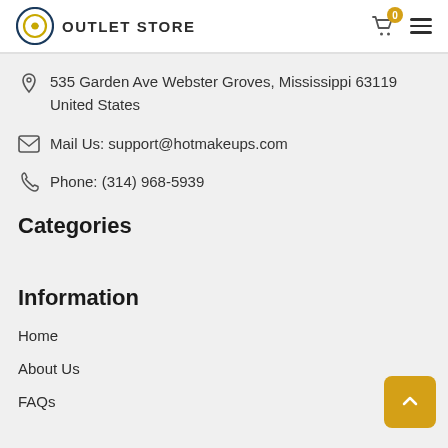OUTLET STORE
535 Garden Ave Webster Groves, Mississippi 63119 United States
Mail Us: support@hotmakeups.com
Phone: (314) 968-5939
Categories
Information
Home
About Us
FAQs